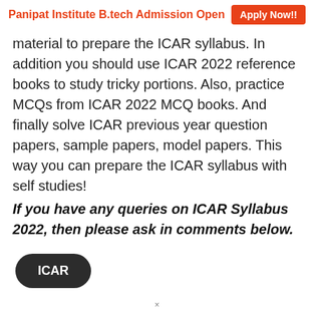Panipat Institute B.tech Admission Open  Apply Now!!
material to prepare the ICAR syllabus. In addition you should use ICAR 2022 reference books to study tricky portions. Also, practice MCQs from ICAR 2022 MCQ books. And finally solve ICAR previous year question papers, sample papers, model papers. This way you can prepare the ICAR syllabus with self studies!
If you have any queries on ICAR Syllabus 2022, then please ask in comments below.
ICAR